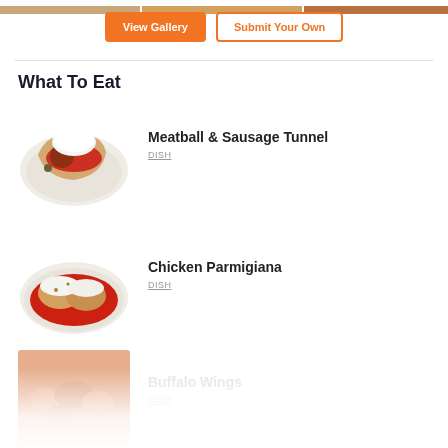[Figure (photo): Top image strip - partial food photos]
View Gallery
Submit Your Own
What To Eat
[Figure (photo): Meatball & Sausage Tunnel dish photo]
Meatball & Sausage Tunnel
DISH
[Figure (photo): Chicken Parmigiana dish photo]
Chicken Parmigiana
DISH
[Figure (photo): Buffalo Wings dish photo (partially visible, faded)]
Buffalo Wings
DISH